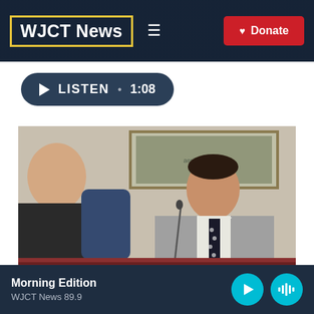WJCT News — Navigation header with logo, hamburger menu, and Donate button
[Figure (screenshot): WJCT News website header with yellow-bordered logo, hamburger menu icon, and red Donate button on dark navy background with city skyline]
[Figure (other): Dark navy rounded pill-shaped Listen player button showing play icon, LISTEN text, dot separator, and duration 1:08]
[Figure (photo): Photo of a man in a gray suit with dark tie sitting at a city council table with a nameplate reading CITY COUNCIL LIAISON; another man partially visible on the left; a framed aerial photo of a city on the wall behind them]
Morning Edition
WJCT News 89.9